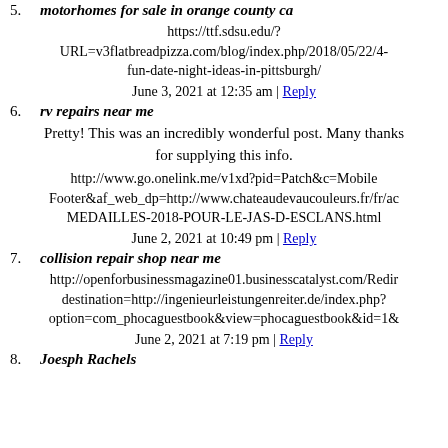5. motorhomes for sale in orange county ca
https://ttf.sdsu.edu/?URL=v3flatbreadpizza.com/blog/index.php/2018/05/22/4-fun-date-night-ideas-in-pittsburgh/
June 3, 2021 at 12:35 am | Reply
6. rv repairs near me
Pretty! This was an incredibly wonderful post. Many thanks for supplying this info.
http://www.go.onelink.me/v1xd?pid=Patch&c=MobileFooter&af_web_dp=http://www.chateaudevaucouleurs.fr/fr/acMEDAILLES-2018-POUR-LE-JAS-D-ESCLANS.html
June 2, 2021 at 10:49 pm | Reply
7. collision repair shop near me
http://openforbusinessmagazine01.businesscatalyst.com/Redirdestination=http://ingenieurleistungenreiter.de/index.php?option=com_phocaguestbook&view=phocaguestbook&id=1&
June 2, 2021 at 7:19 pm | Reply
8. Joesph Rachels